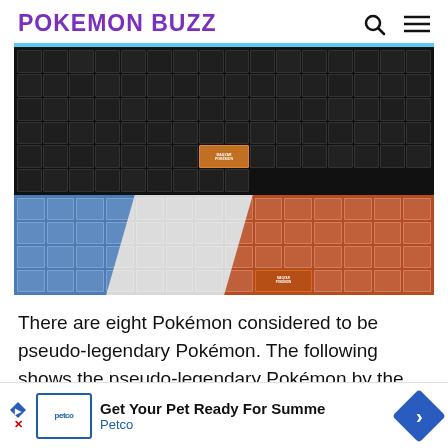POKEMON BUZZ
[Figure (illustration): A large grid of Pokemon sprites arranged in rows. The top portion shows Pokemon on a dark/black background. The lower portion shows a French flag inspired diagonal design with blue on left, white diagonal in center, and orange/red on right, with Pokemon sprites overlaid on the colored regions. Watermark text reads 'MAGYAR POKEMON' in bottom right of upper grid.]
There are eight Pokémon considered to be pseudo-legendary Pokémon. The following shows the pseudo-legendary Pokémon by the generation of their
[Figure (infographic): Petco advertisement banner: 'Get Your Pet Ready For Summe Petco']